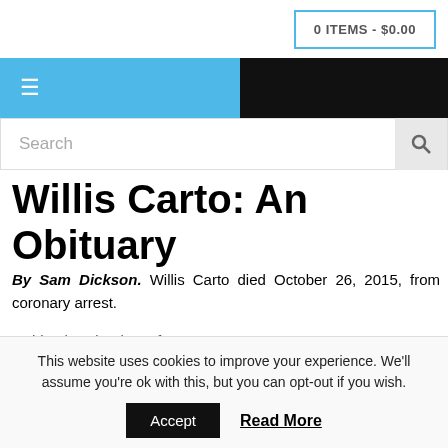0 ITEMS - $0.00
[Figure (screenshot): Navigation bar with blue hamburger menu section and black right section]
Search
Willis Carto: An Obituary
By Sam Dickson. Willis Carto died October 26, 2015, from coronary arrest.
To him the Kingdom of Heaven.
Or as the neo-pagans in our movement might say:
This website uses cookies to improve your experience. We'll assume you're ok with this, but you can opt-out if you wish. Accept Read More